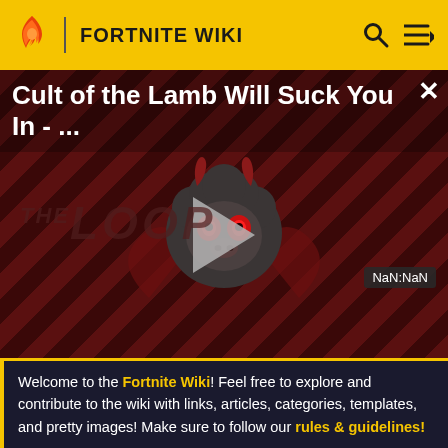FORTNITE WIKI
Cult of the Lamb Will Suck You In - ...
[Figure (screenshot): Video thumbnail with diagonal red/dark stripe background showing a cartoon lamb character with devil horns and red eyes. A large play button triangle is centered. 'THE LOOP' logo text appears in dark red at lower left. NaN:NaN timestamp shown bottom right.]
[Figure (photo): Advertisement banner showing two game characters in colorful action poses against a teal/cyan background.]
Welcome to the Fortnite Wiki! Feel free to explore and contribute to the wiki with links, articles, categories, templates, and pretty images! Make sure to follow our rules & guidelines!